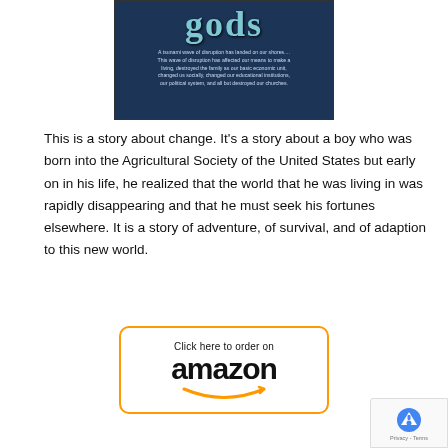[Figure (illustration): Book cover with dark blue background showing the word 'gods' in teal/cyan letters and subtitle text about disruption]
This is a story about change. It's a story about a boy who was born into the Agricultural Society of the United States but early on in his life, he realized that the world that he was living in was rapidly disappearing and that he must seek his fortunes elsewhere. It is a story of adventure, of survival, and of adaption to this new world.
[Figure (illustration): Amazon order button — orange rounded rectangle with 'Click here to order on' and 'amazon' logo with smile arrow]